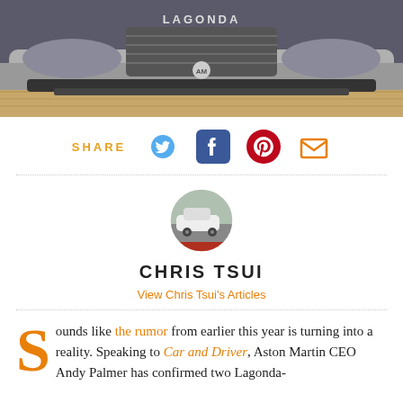[Figure (photo): Front grille and bumper of a Lagonda car displayed on a wooden floor showroom, with 'LAGONDA' text visible on the grille area]
[Figure (infographic): Share bar with orange SHARE label, Twitter bird icon (blue), Facebook icon (blue), Pinterest icon (red), and email/envelope icon (orange)]
[Figure (photo): Circular avatar photo of Chris Tsui showing a white car in what appears to be an indoor garage or warehouse setting]
CHRIS TSUI
View Chris Tsui's Articles
Sounds like the rumor from earlier this year is turning into a reality. Speaking to Car and Driver, Aston Martin CEO Andy Palmer has confirmed two Lagonda-